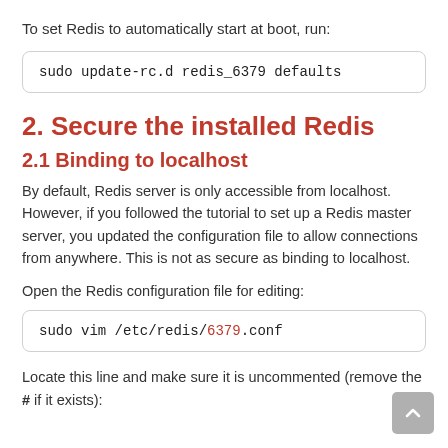To set Redis to automatically start at boot, run:
sudo update-rc.d redis_6379 defaults
2. Secure the installed Redis
2.1 Binding to localhost
By default, Redis server is only accessible from localhost. However, if you followed the tutorial to set up a Redis master server, you updated the configuration file to allow connections from anywhere. This is not as secure as binding to localhost.
Open the Redis configuration file for editing:
sudo vim /etc/redis/6379.conf
Locate this line and make sure it is uncommented (remove the # if it exists):